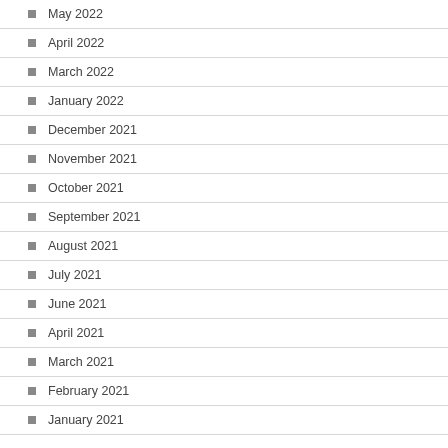May 2022
April 2022
March 2022
January 2022
December 2021
November 2021
October 2021
September 2021
August 2021
July 2021
June 2021
April 2021
March 2021
February 2021
January 2021